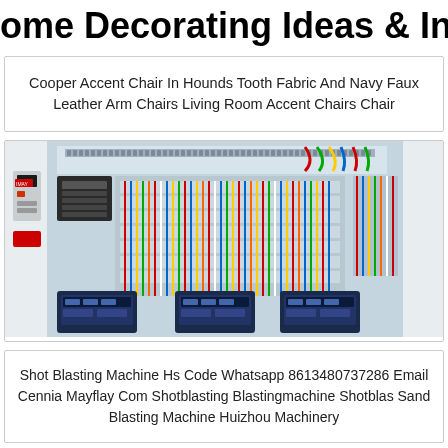ome Decorating Ideas & Interior Des
Cooper Accent Chair In Hounds Tooth Fabric And Navy Faux Leather Arm Chairs Living Room Accent Chairs Chair
[Figure (photo): Electrical control panel interior showing wiring, terminal blocks, circuit breakers, cables (red, green, yellow, blue), and variable frequency drives (VFDs) at the bottom. White cabinet with dense wiring and DIN rail components.]
Shot Blasting Machine Hs Code Whatsapp 8613480737286 Email Cennia Mayflay Com Shotblasting Blastingmachine Shotblas Sand Blasting Machine Huizhou Machinery